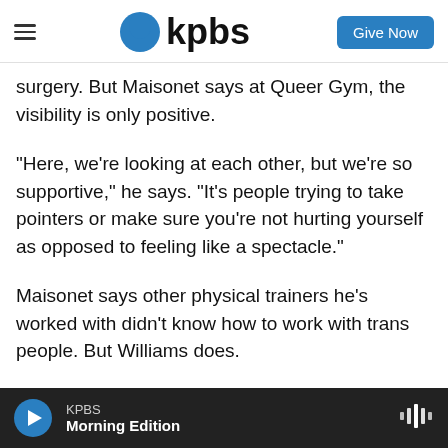kpbs | Give Now
surgery. But Maisonet says at Queer Gym, the visibility is only positive.
"Here, we're looking at each other, but we're so supportive," he says. "It's people trying to take pointers or make sure you're not hurting yourself as opposed to feeling like a spectacle."
Maisonet says other physical trainers he's worked with didn't know how to work with trans people. But Williams does.
"If I tell Justice, 'yo, this hurts', he'll give me a modification or tell me to take a break," Maisonet
KPBS
Morning Edition